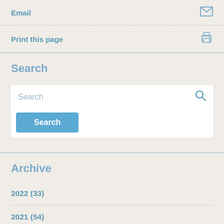Email
Print this page
Search
Search
Archive
2022 (33)
2021 (54)
2020 (52)
2019 (56)